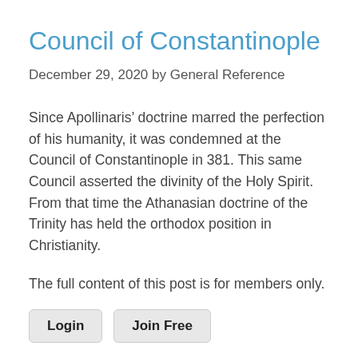Council of Constantinople
December 29, 2020 by General Reference
Since Apollinaris’ doctrine marred the perfection of his humanity, it was condemned at the Council of Constantinople in 381. This same Council asserted the divinity of the Holy Spirit. From that time the Athanasian doctrine of the Trinity has held the orthodox position in Christianity.
The full content of this post is for members only.
Login
Join Free